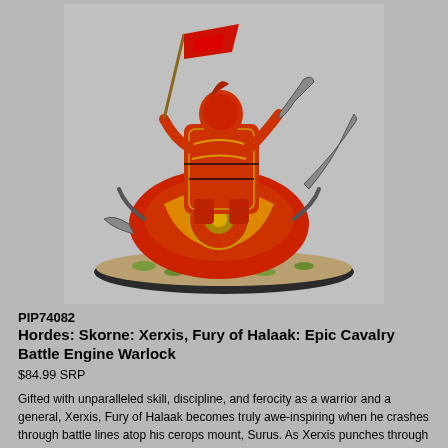[Figure (photo): Painted miniature of Xerxis, Fury of Halaak: Epic Cavalry Battle Engine Warlock from the Hordes Skorne faction. A heavily armored rider in red and gold armor sits atop a large beast (cerops mount named Surus), also armored in red and gold. The rider holds a banner pole with a red flag and wields a large weapon. The miniature is mounted on an oval base with grass tufts and gravel.]
PIP74082
Hordes: Skorne: Xerxis, Fury of Halaak: Epic Cavalry Battle Engine Warlock
$84.99 SRP
Gifted with unparalleled skill, discipline, and ferocity as a warrior and a general, Xerxis, Fury of Halaak becomes truly awe-inspiring when he crashes through battle lines atop his cerops mount, Surus. As Xerxis punches through